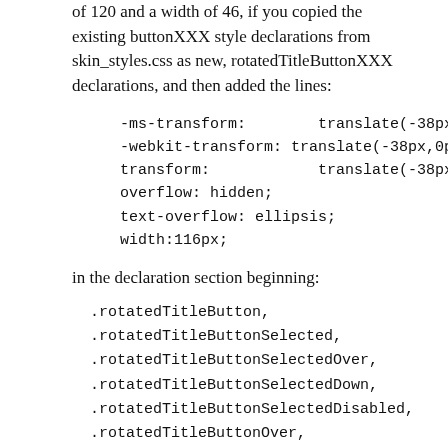of 120 and a width of 46, if you copied the existing buttonXXX style declarations from skin_styles.css as new, rotatedTitleButtonXXX declarations, and then added the lines:
in the declaration section beginning: